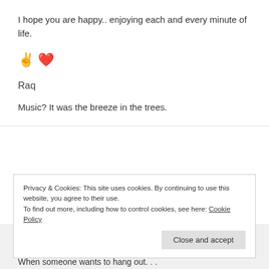I hope you are happy.. enjoying each and every minute of life.
✌ ❤
Raq
Music? It was the breeze in the trees.
Privacy & Cookies: This site uses cookies. By continuing to use this website, you agree to their use.
To find out more, including how to control cookies, see here: Cookie Policy
Close and accept
When someone wants to hang out. . .